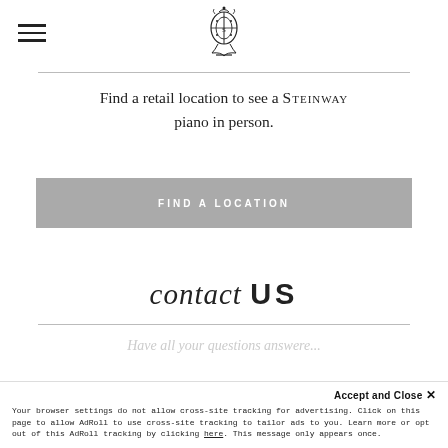[Steinway logo / lyre emblem]
Find a retail location to see a STEINWAY piano in person.
FIND A LOCATION
contact US
Have all your questions answere...
Accept and Close ×
Your browser settings do not allow cross-site tracking for advertising. Click on this page to allow AdRoll to use cross-site tracking to tailor ads to you. Learn more or opt out of this AdRoll tracking by clicking here. This message only appears once.